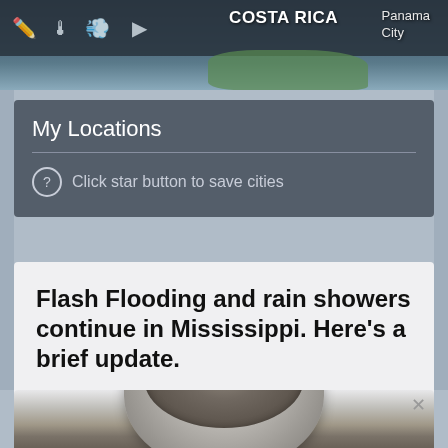[Figure (screenshot): Weather app map banner showing Costa Rica and Panama City labels with toolbar icons]
My Locations
Click star button to save cities
Flash Flooding and rain showers continue in Mississippi. Here's a brief update.
The Clarion Ledger
[Figure (photo): Photo of a bowl of oatmeal or porridge with dark toppings, partially visible]